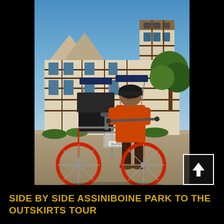[Figure (photo): A man wearing an orange shirt and black helmet rides a side-by-side pedicab/rickshaw in front of a large Tudor-style building (Assiniboine Park pavilion) on a sunny day with blue skies.]
SIDE BY SIDE ASSINIBOINE PARK TO THE OUTSKIRTS TOUR